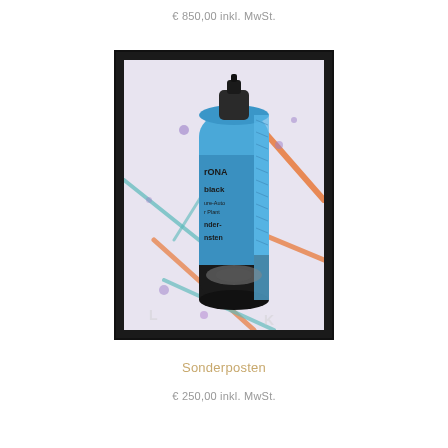€ 850,00 inkl. MwSt.
[Figure (photo): Framed photograph of a blue and black spray paint can (partially labeled 'rONA', 'black', 'nder-', 'nsten') against a colorful abstract background with orange and teal brush strokes and purple dots. The artwork is in a black frame with white mat.]
Sonderposten
€ 250,00 inkl. MwSt.